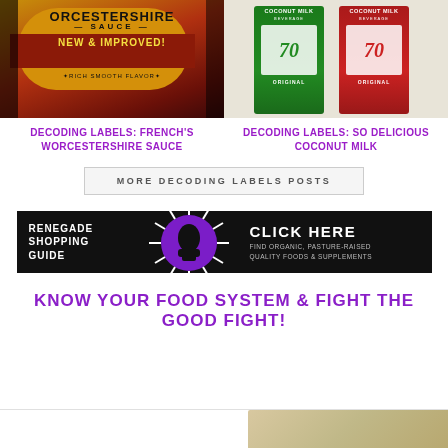[Figure (photo): Product photo of French's Worcestershire Sauce bottle label showing 'NEW & IMPROVED! RICH SMOOTH FLAVOR']
[Figure (photo): Product photo of So Delicious Coconut Milk beverage cartons in green and red packaging labeled 'ORIGINAL']
DECODING LABELS: FRENCH'S WORCESTERSHIRE SAUCE
DECODING LABELS: SO DELICIOUS COCONUT MILK
MORE DECODING LABELS POSTS
[Figure (infographic): Renegade Shopping Guide banner ad with purple sunburst fist logo. Text: RENEGADE SHOPPING GUIDE | CLICK HERE | FIND ORGANIC, PASTURE-RAISED QUALITY FOODS & SUPPLEMENTS]
KNOW YOUR FOOD SYSTEM & FIGHT THE GOOD FIGHT!
[Figure (photo): Partial photo at bottom of page, partially cropped]